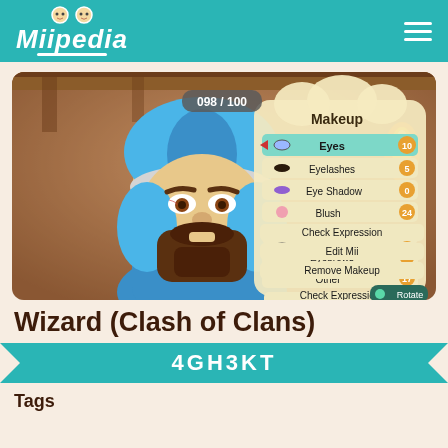Miipedia
[Figure (screenshot): Game screenshot showing a Mii character dressed as Wizard from Clash of Clans, with a Makeup menu open showing options: Eyes (10), Eyelashes (5), Eye Shadow (0), Blush (24), Lipstick (2), Eyebrows (10), Other (17), Check Expression, Edit Mii, Remove Makeup. Counter shows 098/100.]
Wizard (Clash of Clans)
4GH3KT
Tags